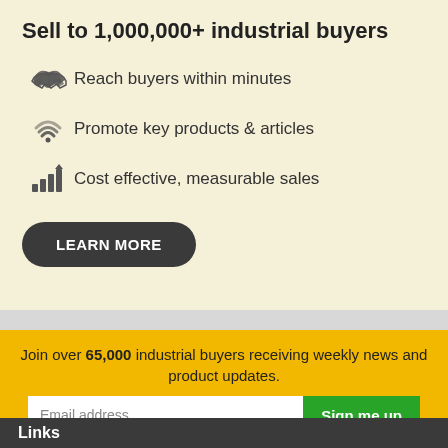Sell to 1,000,000+ industrial buyers
Reach buyers within minutes
Promote key products & articles
Cost effective, measurable sales
LEARN MORE
Join over 65,000 industrial buyers receiving weekly news and product updates.
Email address...
Sign me up
Links